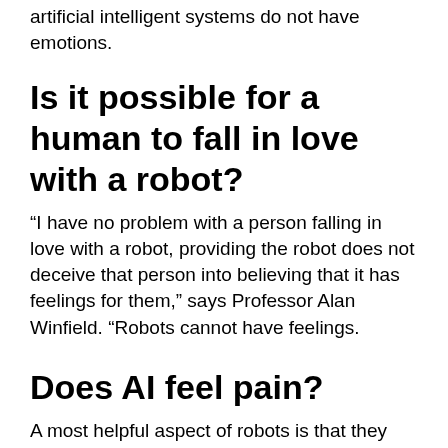artificial intelligent systems do not have emotions.
Is it possible for a human to fall in love with a robot?
“I have no problem with a person falling in love with a robot, providing the robot does not deceive that person into believing that it has feelings for them,” says Professor Alan Winfield. “Robots cannot have feelings.
Does AI feel pain?
A most helpful aspect of robots is that they don’t feel pain. Along these lines, we have no issue giving them something to do in dangerous conditions or having them